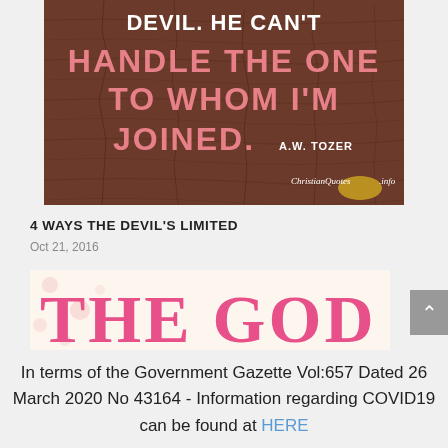[Figure (illustration): A motivational Christian quote on a cracked brown wood texture background. Large pink text reads 'HANDLE THE ONE TO WHOM I'M JOINED.' with white text above reading 'DEVIL. HE CAN'T', attributed to A.W. TOZER. ChristianQuotes.info watermark bottom right.]
4 WAYS THE DEVIL'S LIMITED
Oct 21, 2016
[Figure (illustration): Partial view of a second image showing large pink letters 'THE GOD' on a light floral/decorative background.]
In terms of the Government Gazette Vol:657 Dated 26 March 2020 No 43164 - Information regarding COVID19 can be found at HERE